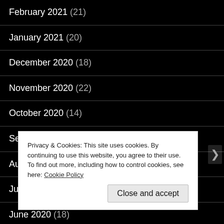February 2021 (21)
January 2021 (20)
December 2020 (18)
November 2020 (22)
October 2020 (14)
September 2020 (8)
August 2020 (21)
July 2020 (24)
June 2020 (18)
M...
Privacy & Cookies: This site uses cookies. By continuing to use this website, you agree to their use.
To find out more, including how to control cookies, see here: Cookie Policy
Close and accept